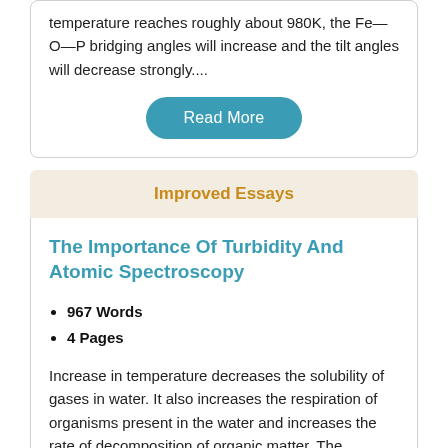temperature reaches roughly about 980K, the Fe—O—P bridging angles will increase and the tilt angles will decrease strongly....
Read More
Improved Essays
The Importance Of Turbidity And Atomic Spectroscopy
967 Words
4 Pages
Increase in temperature decreases the solubility of gases in water. It also increases the respiration of organisms present in the water and increases the rate of decomposition of organic matter. The